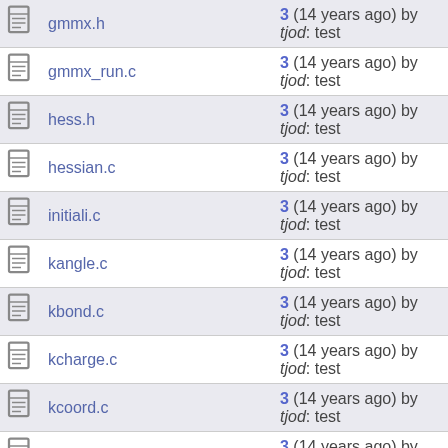|  | Name | Info |
| --- | --- | --- |
|  | gmmx.h | 3 (14 years ago) by tjod: test |
|  | gmmx_run.c | 3 (14 years ago) by tjod: test |
|  | hess.h | 3 (14 years ago) by tjod: test |
|  | hessian.c | 3 (14 years ago) by tjod: test |
|  | initiali.c | 3 (14 years ago) by tjod: test |
|  | kangle.c | 3 (14 years ago) by tjod: test |
|  | kbond.c | 3 (14 years ago) by tjod: test |
|  | kcharge.c | 3 (14 years ago) by tjod: test |
|  | kcoord.c | 3 (14 years ago) by tjod: test |
|  | kdipole.c | 3 (14 years ago) by tjod: test |
|  | kopend.c | 3 (14 years ago) by tjod: test |
|  | kstrbnd.c | 3 (14 years ago) by tjod: test |
|  | ktorsion.c | 3 (14 years ago) by tjod: test |
|  | kvdw.c | 3 (14 years ago) by tjod: test |
|  | mark.c | 3 (14 years ago) by tjod: test |
|  | matrix.c | 3 (14 years ago) by tjod: test |